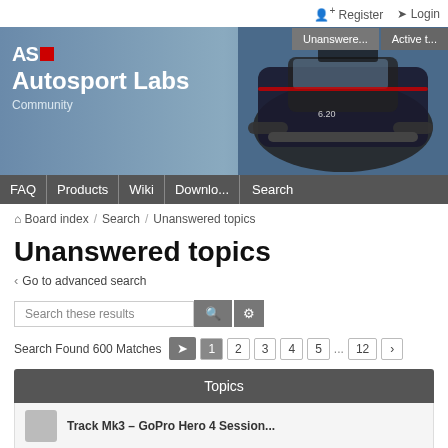Register   Login
Unanswered topics   Active topics
[Figure (screenshot): Autosport Labs community banner with logo (ASL with red square) on left and a racing car image on the right against a blue-grey gradient background]
FAQ  Products  Wiki  Downlo...  Search
Board index / Search / Unanswered topics
Unanswered topics
< Go to advanced search
Search these results
Search Found 600 Matches  1  2  3  4  5  ...  12  >
Topics
Track Mk3 – GoPro Hero 4 Session...